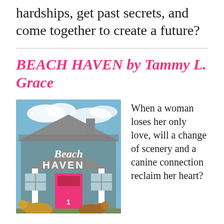hardships, get past secrets, and come together to create a future?
BEACH HAVEN by Tammy L. Grace
[Figure (illustration): Book cover of 'Beach Haven' showing a teal/grey cottage house with a bright pink front door, white pillars, two golden retrievers sitting in front, and a blue sky with clouds. The title 'Beach HAVEN' is displayed in white lettering.]
When a woman loses her only love, will a change of scenery and a canine connection reclaim her heart?